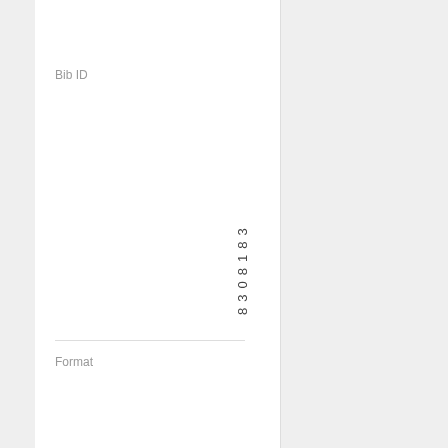Bib ID
8308183
Format
Book, Online
Online Access
https